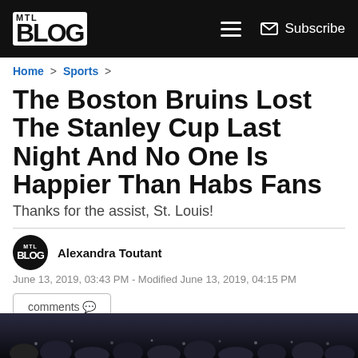MTL Blog — Subscribe
Home > Sports >
The Boston Bruins Lost The Stanley Cup Last Night And No One Is Happier Than Habs Fans
Thanks for the assist, St. Louis!
Alexandra Toutant
June 13, 2019, 03:43 PM - Modified June 13, 2019, 04:15 PM
comments 🗨
[Figure (photo): Dark crowd/audience photo, partially visible at bottom of page]